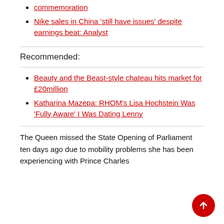commemoration
Nike sales in China 'still have issues' despite earnings beat: Analyst
Recommended:
Beauty and the Beast-style chateau hits market for £20million
Katharina Mazepa: RHOM's Lisa Hochstein Was 'Fully Aware' I Was Dating Lenny
The Queen missed the State Opening of Parliament ten days ago due to mobility problems she has been experiencing with Prince Charles